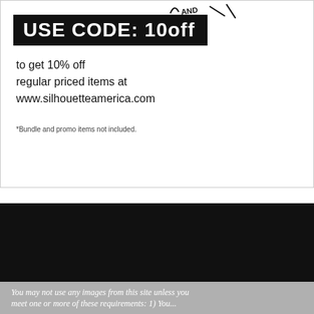[Figure (illustration): Handwritten sketch with 'AND' text and arrow/line doodles at top right of white card]
USE CODE: 10off
to get 10% off regular priced items at www.silhouetteamerica.com
*Bundle and promo items not included.
[Figure (illustration): Social media icons: Facebook, Flickr, Instagram, Pinterest, Twitter, YouTube — white rounded squares on black background]
ALL IMAGES ON THIS SITE ARE PROTECTED BY COPYRIGHT
You may not use any images from this site unless you meet one or more of these requirements: 1) You...